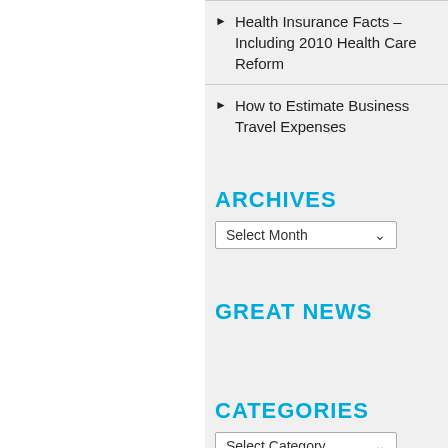Health Insurance Facts – Including 2010 Health Care Reform
How to Estimate Business Travel Expenses
ARCHIVES
Select Month
GREAT NEWS
CATEGORIES
Select Category